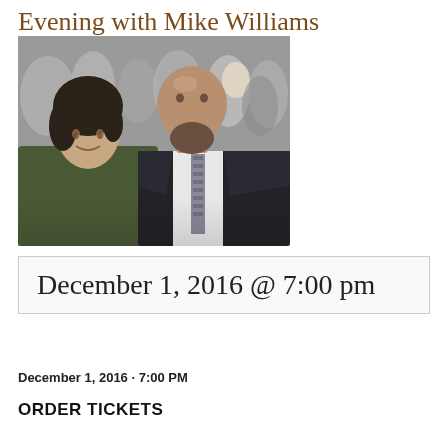Evening with Mike Williams
[Figure (photo): Two men posing together at a public event. The man on the left has dark wavy hair and wears a dark olive/green long-sleeve shirt. The man on the right is bald with a beard and wears a dark suit with a striped tie. There is a crowd of people visible in the background.]
December 1, 2016 @ 7:00 pm
December 1, 2016 · 7:00 PM
ORDER TICKETS